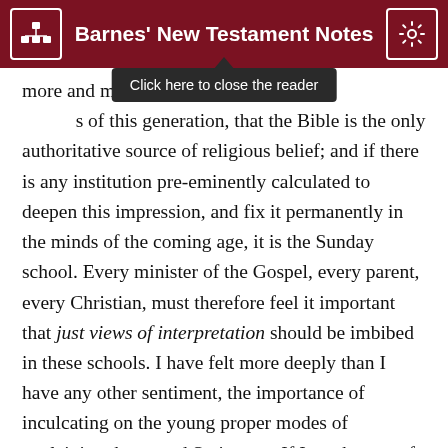Barnes' New Testament Notes
more and more deeply convinced, in common with the most intelligent and pious of this generation, that the Bible is the only authoritative source of religious belief; and if there is any institution pre-eminently calculated to deepen this impression, and fix it permanently in the minds of the coming age, it is the Sunday school. Every minister of the Gospel, every parent, every Christian, must therefore feel it important that just views of interpretation should be imbibed in these schools. I have felt more deeply than I have any other sentiment, the importance of inculcating on the young proper modes of explaining the sacred Scriptures. If I can be one of the instruments